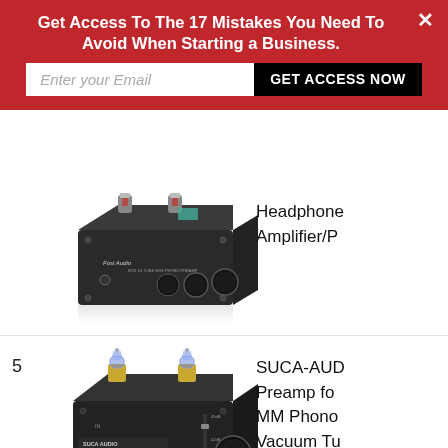[Figure (screenshot): Email capture modal overlay with red background. Title: 'Get Access To The 17 Mistakes You Need To Avoid When Starting a Business.' Email input field and black 'GET ACCESS NOW' button. Close X in top right.]
[Figure (photo): Fosi Audio BOX X4 Tube Mini Phono Preamp device - black unit with two vacuum tubes on top, three knobs, and headphone jack on front panel.]
Headphone
Amplifier/P
5
[Figure (photo): SUCA AUDIO Phono Boy PA device - black unit with two large blue vacuum tubes on top and gold rings, with knob on front.]
SUCA-AUD
Preamp fo
MM Phono
Vacuum Tu